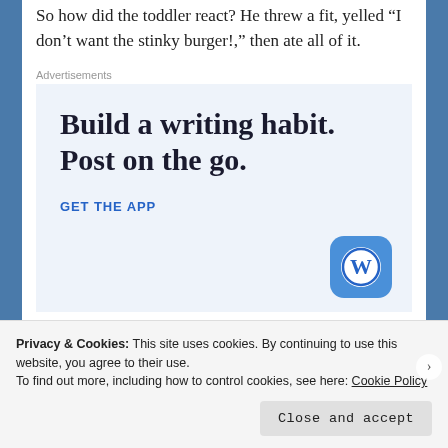So how did the toddler react? He threw a fit, yelled “I don’t want the stinky burger!” then ate all of it.
Advertisements
[Figure (infographic): WordPress advertisement: 'Build a writing habit. Post on the go.' with a 'GET THE APP' call to action and WordPress logo]
Privacy & Cookies: This site uses cookies. By continuing to use this website, you agree to their use.
To find out more, including how to control cookies, see here: Cookie Policy